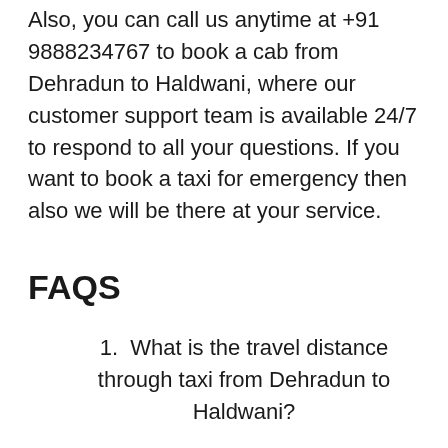Also, you can call us anytime at +91 9888234767 to book a cab from Dehradun to Haldwani, where our customer support team is available 24/7 to respond to all your questions. If you want to book a taxi for emergency then also we will be there at your service.
FAQS
1. What is the travel distance through taxi from Dehradun to Haldwani?
The travel distance through taxi from Dehradun to Haldwani is 280 kilometres which can be easily covered in 6 hours.
2. What is cost of Dzire for Dehradun to